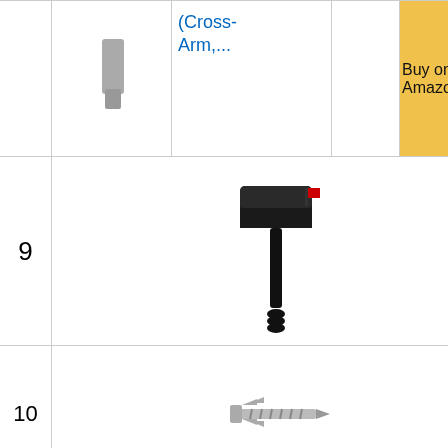| # | Image | Product | Score | Action |
| --- | --- | --- | --- | --- |
|  |  | (Cross-Arm,... |  | Buy on Amazon |
| 9 | [mailbox image] | Gibraltar Mailboxes Harrison Medium Capacity... | 9.65 | Buy on Amazon |
| 10 | [screw image] | Mayne 580D-BK Ground Screw, Silver... | 8.00 | Buy on Amazon |